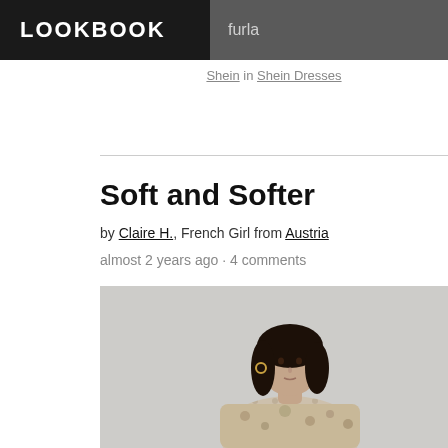LOOKBOOK
furla
Shein in Shein Dresses
Soft and Softer
by Claire H., French Girl from Austria
almost 2 years ago · 4 comments
[Figure (photo): Woman with dark shoulder-length hair wearing a floral patterned long-sleeve top, photographed against a light grey background]